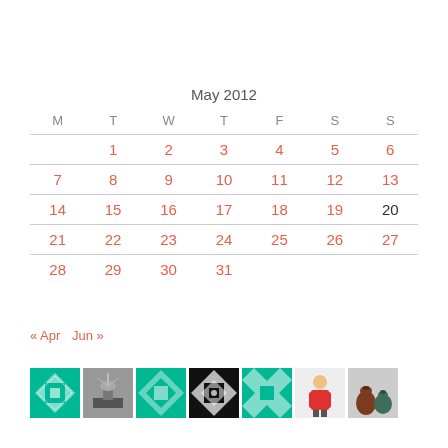May 2012
| M | T | W | T | F | S | S |
| --- | --- | --- | --- | --- | --- | --- |
|  | 1 | 2 | 3 | 4 | 5 | 6 |
| 7 | 8 | 9 | 10 | 11 | 12 | 13 |
| 14 | 15 | 16 | 17 | 18 | 19 | 20 |
| 21 | 22 | 23 | 24 | 25 | 26 | 27 |
| 28 | 29 | 30 | 31 |  |  |  |
« Apr  Jun »
[Figure (photo): Row of thumbnail images: green quilt pattern, black-and-white fountain photo, green quilt pattern 2, black quilt pattern, green quilt pattern 3, person in red jacket, brown ceramic vases]